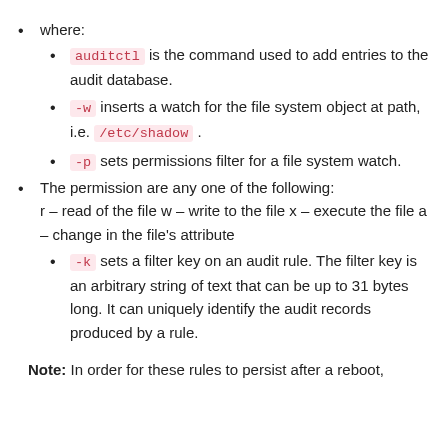where:
auditctl is the command used to add entries to the audit database.
-w inserts a watch for the file system object at path, i.e. /etc/shadow .
-p sets permissions filter for a file system watch.
The permission are any one of the following: r – read of the file, w – write to the file, x – execute the file, a – change in the file's attribute
-k sets a filter key on an audit rule. The filter key is an arbitrary string of text that can be up to 31 bytes long. It can uniquely identify the audit records produced by a rule.
Note: In order for these rules to persist after a reboot,